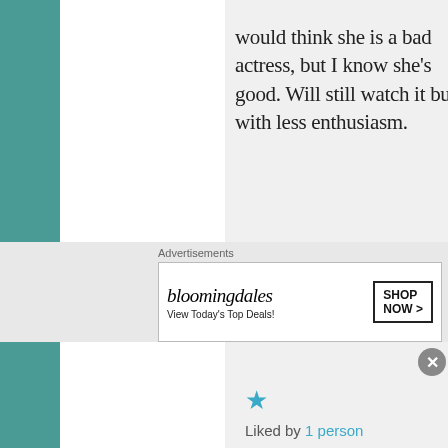would think she is a bad actress, but I know she's good. Will still watch it but with less enthusiasm.
Liked by 1 person
Reply
[Figure (photo): Avatar image of user Popka Superstar with colorful painted/illustrated appearance]
Popka Superstar on September 16,
Advertisements
[Figure (screenshot): Bloomingdale's advertisement banner: 'View Today's Top Deals!' with Shop Now button]